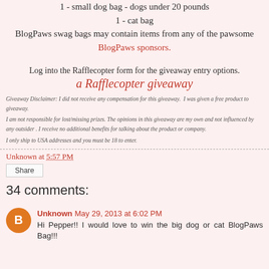1 - small dog bag - dogs under 20 pounds
1 - cat bag
BlogPaws swag bags may contain items from any of the pawsome BlogPaws sponsors.
Log into the Rafflecopter form for the giveaway entry options.
a Rafflecopter giveaway
Giveaway Disclaimer: I did not receive any compensation for this giveaway.  I was given a free product to giveaway.
I am not responsible for lost/missing prizes. The opinions in this giveaway are my own and not influenced by any outsider . I receive no additional benefits for talking about the product or company.
I only ship to USA addresses and you must be 18 to enter.
Unknown at 5:57 PM
Share
34 comments:
Unknown May 29, 2013 at 6:02 PM
Hi Pepper!! I would love to win the big dog or cat BlogPaws Bag!!!